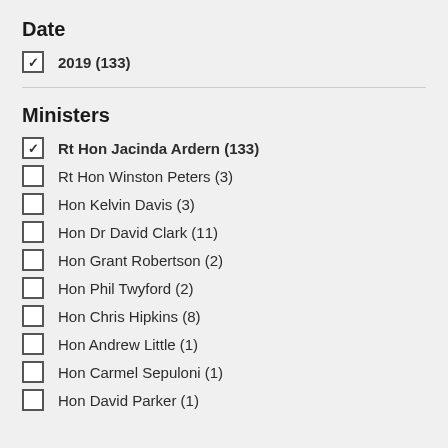Date
2019 (133)
Ministers
Rt Hon Jacinda Ardern (133)
Rt Hon Winston Peters (3)
Hon Kelvin Davis (3)
Hon Dr David Clark (11)
Hon Grant Robertson (2)
Hon Phil Twyford (2)
Hon Chris Hipkins (8)
Hon Andrew Little (1)
Hon Carmel Sepuloni (1)
Hon David Parker (1)